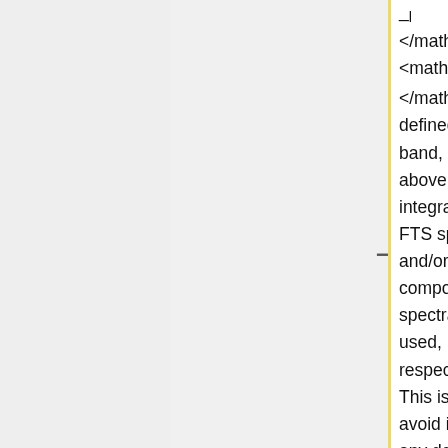_{l} </math>, and <math>\nu_{u} </math>, are defined for each band, below and above which the integrated HFI FTS spectra and/or the composite filter spectra must be used, respectively. This is done to avoid introducing any detector nonlinearity residuals into the final spectral transmission data products. The region between those
not correct for multi-moded propagation. Both lower and upper frequency thresholds, <math>\nu_{l} </math>, and <math>\nu_{u} </math>, are defined for each band, below and above which the integrated HFI FTS spectra and/or the composite filter spectra must be used, respectively. This is done to avoid introducing any detector